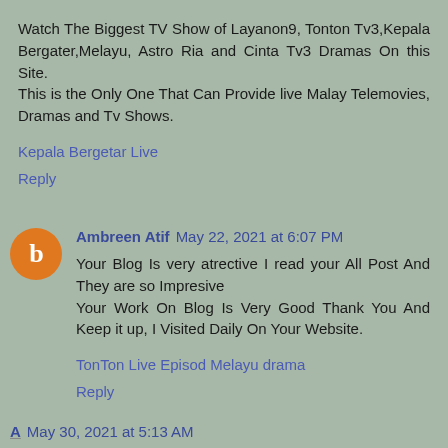Watch The Biggest TV Show of Layanon9, Tonton Tv3,Kepala Bergater,Melayu, Astro Ria and Cinta Tv3 Dramas On this Site.
This is the Only One That Can Provide live Malay Telemovies, Dramas and Tv Shows.
Kepala Bergetar Live
Reply
Ambreen Atif  May 22, 2021 at 6:07 PM
Your Blog Is very atrective I read your All Post And They are so Impresive
Your Work On Blog Is Very Good Thank You And Keep it up, I Visited Daily On Your Website.
TonTon Live Episod Melayu drama
Reply